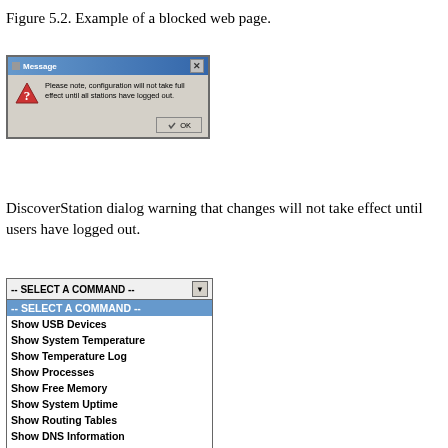Figure 5.2. Example of a blocked web page.
[Figure (screenshot): A Windows-style dialog box titled 'Message' with a warning icon and text: 'Please note, configuration will not take full effect until all stations have logged out.' with an OK button.]
DiscoverStation dialog warning that changes will not take effect until users have logged out.
[Figure (screenshot): A dropdown menu titled '-- SELECT A COMMAND --' with options: -- SELECT A COMMAND --, Show USB Devices, Show System Temperature, Show Temperature Log, Show Processes, Show Free Memory, Show System Uptime, Show Routing Tables, Show DNS Information, Show Network Ports, Restart Services, Reboot...]